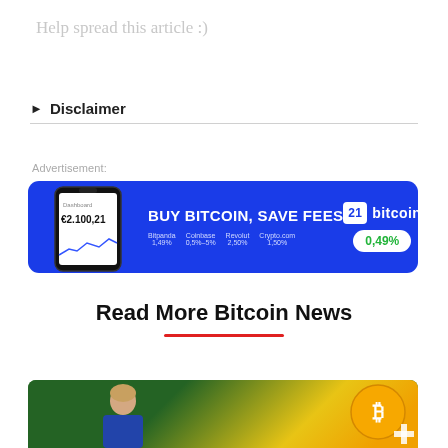Help spread this article :)
▶ Disclaimer
Advertisement:
[Figure (infographic): Blue advertisement banner for bitcoin.de showing a phone with €2,100.21 balance, text 'BUY BITCOIN, SAVE FEES', fee comparison: Bitpanda 1.49%, Coinbase 0.5%-5%, Revolut 2.50%, Crypto.com 1.50%, and bitcoin.de 0.49%]
Read More Bitcoin News
[Figure (photo): Photo of a man against a Brazilian flag background with a Bitcoin coin visible on the right]